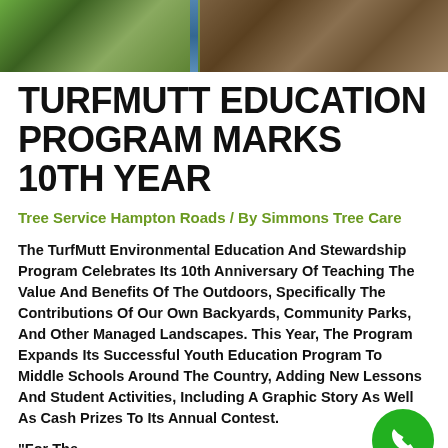[Figure (photo): Outdoor nature photo showing tree bark and leaves with a blue rope or cord visible, cropped at top of page]
TURFMUTT EDUCATION PROGRAM MARKS 10TH YEAR
Tree Service Hampton Roads / By Simmons Tree Care
The TurfMutt Environmental Education And Stewardship Program Celebrates Its 10th Anniversary Of Teaching The Value And Benefits Of The Outdoors, Specifically The Contributions Of Our Own Backyards, Community Parks, And Other Managed Landscapes. This Year, The Program Expands Its Successful Youth Education Program To Middle Schools Around The Country, Adding New Lessons And Student Activities, Including A Graphic Story As Well As Cash Prizes To Its Annual Contest.
“For The Last